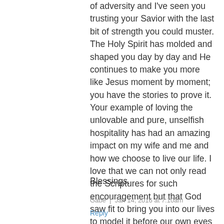of adversity and I've seen you trusting your Savior with the last bit of strength you could muster. The Holy Spirit has molded and shaped you day by day and He continues to make you more like Jesus moment by moment; you have the stories to prove it. Your example of loving the unlovable and pure, unselfish hospitality has had an amazing impact on my wife and me and how we choose to live our life. I love that we can not only read the Scriptures for such encouragement but that God saw fit to bring you into our lives to model it before our own eyes in a very practical way. You are an amazing person and, by the grace of God, I hope to have half the legacy you have.
Blessings.
Gabe  |  Jan 14, 2016 at 7:10am
Reply